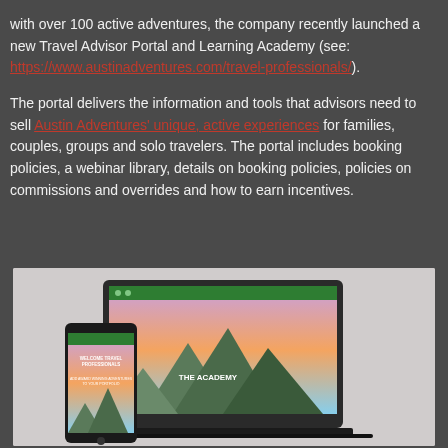with over 100 active adventures, the company recently launched a new Travel Advisor Portal and Learning Academy (see: https://www.austinadventures.com/travel-professionals/).
The portal delivers the information and tools that advisors need to sell Austin Adventures' unique, active experiences for families, couples, groups and solo travelers. The portal includes booking policies, a webinar library, details on booking policies, policies on commissions and overrides and how to earn incentives.
[Figure (photo): Screenshot of Austin Adventures Travel Advisor Portal displayed on a laptop and mobile phone, showing mountain landscape background with green header navigation and text 'Welcome Travel Professionals' and 'The Academy']